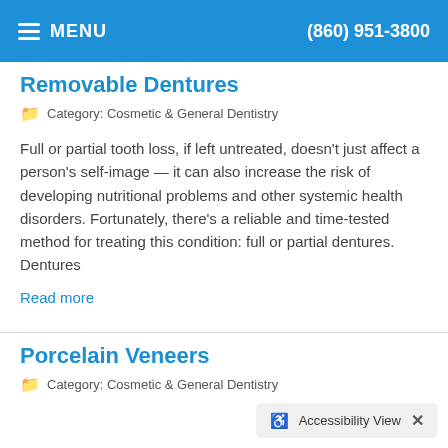MENU  (860) 951-3800
Removable Dentures
Category: Cosmetic & General Dentistry
Full or partial tooth loss, if left untreated, doesn't just affect a person's self-image — it can also increase the risk of developing nutritional problems and other systemic health disorders. Fortunately, there's a reliable and time-tested method for treating this condition: full or partial dentures. Dentures
Read more
Porcelain Veneers
Category: Cosmetic & General Dentistry